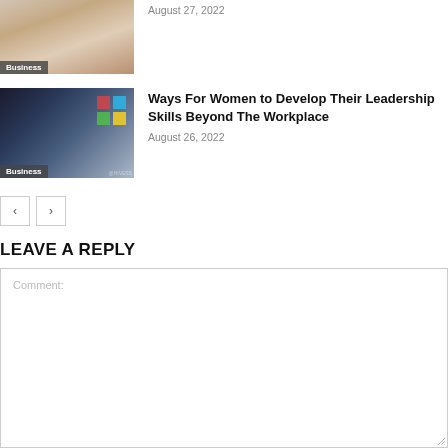[Figure (photo): Thumbnail image of a person, with 'Business' label overlay, partially visible at top]
August 27, 2022
[Figure (photo): Thumbnail image of a woman pointing at sticky notes on a dark background, with 'Business' label overlay]
Ways For Women to Develop Their Leadership Skills Beyond The Workplace
August 26, 2022
LEAVE A REPLY
Comment: